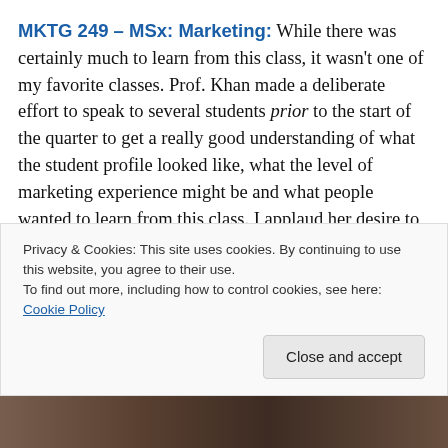MKTG 249 – MSx: Marketing: While there was certainly much to learn from this class, it wasn't one of my favorite classes. Prof. Khan made a deliberate effort to speak to several students prior to the start of the quarter to get a really good understanding of what the student profile looked like, what the level of marketing experience might be and what people wanted to learn from this class. I applaud her desire to make the class useful for everyone, but I found that instead, the curriculum was a little disjointed and ambiguous – leaving many of us
Privacy & Cookies: This site uses cookies. By continuing to use this website, you agree to their use. To find out more, including how to control cookies, see here: Cookie Policy
[Figure (photo): Partial photo strip at bottom of page showing a group of people]